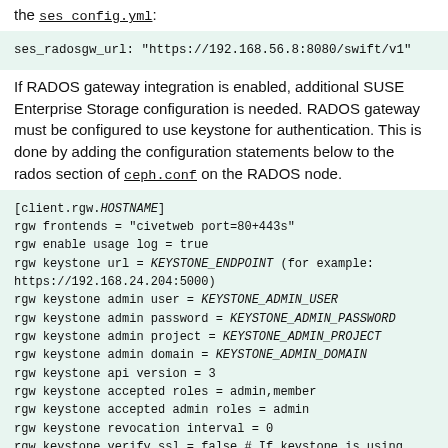the ses_config.yml:
ses_radosgw_url: "https://192.168.56.8:8080/swift/v1"
If RADOS gateway integration is enabled, additional SUSE Enterprise Storage configuration is needed. RADOS gateway must be configured to use keystone for authentication. This is done by adding the configuration statements below to the rados section of ceph.conf on the RADOS node.
[client.rgw.HOSTNAME]
rgw frontends = "civetweb port=80+443s"
rgw enable usage log = true
rgw keystone url = KEYSTONE_ENDPOINT (for example: https://192.168.24.204:5000)
rgw keystone admin user = KEYSTONE_ADMIN_USER
rgw keystone admin password = KEYSTONE_ADMIN_PASSWORD
rgw keystone admin project = KEYSTONE_ADMIN_PROJECT
rgw keystone admin domain = KEYSTONE_ADMIN_DOMAIN
rgw keystone api version = 3
rgw keystone accepted roles = admin,member
rgw keystone accepted admin roles = admin
rgw keystone revocation interval = 0
rgw keystone verify_ssl = false # If keystone is using